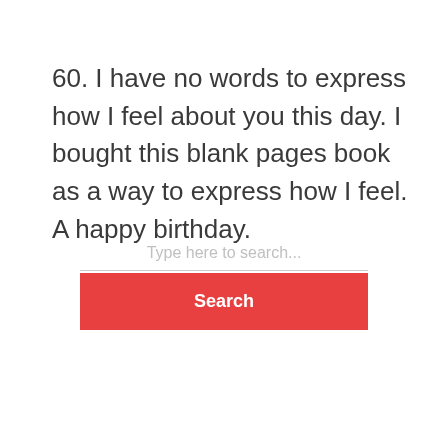60. I have no words to express how I feel about you this day. I bought this blank pages book as a way to express how I feel. A happy birthday.
Type here to search...
Search